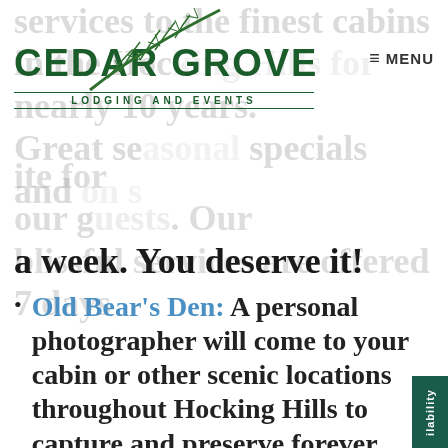[Figure (logo): Cedar Grove Lodging and Events logo with pine branch and pinecone illustration]
services to the finest cabins in the Hocking Hills for nearly 10 years. Great seasonal specials and on site for our guests. Our blissful services are offered 7 days a week. You deserve it!
Old Bear's Den: A personal photographer will come to your cabin or other scenic locations throughout Hocking Hills to capture and preserve forever your experiences.